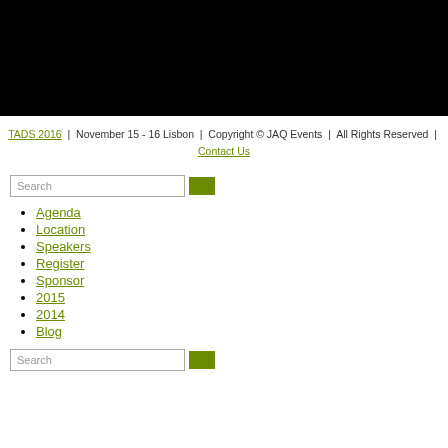[Figure (photo): Black banner image at top of page]
TADS 2016 | November 15 - 16 Lisbon | Copyright © JAQ Events | All Rights Reserved | Contact Us
Search
Agenda
Location
Speakers
Register
Sponsor
2015
2014
Blog
Search